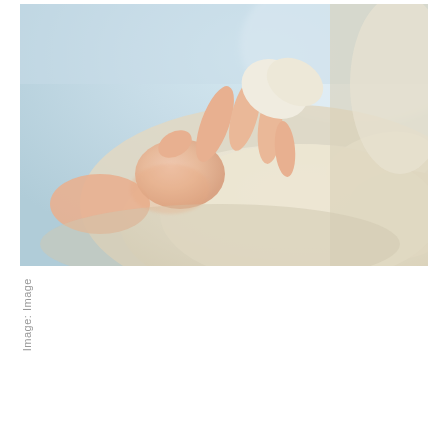[Figure (photo): Close-up photograph of a newborn baby's small hand being held by a medical professional wearing white latex/rubber gloves. The background is light blue and white, suggesting a clinical/hospital setting.]
Image: Image